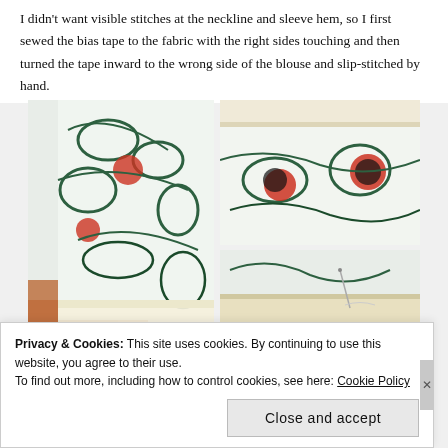I didn't want visible stitches at the neckline and sleeve hem, so I first sewed the bias tape to the fabric with the right sides touching and then turned the tape inward to the wrong side of the blouse and slip-stitched by hand.
[Figure (photo): Three photos showing bias tape sewing process: left photo shows a hand holding floral fabric with cream bias tape at edge; top-right photo shows floral fabric with bias tape folded over the top edge; bottom-right photo shows needle and thread slip-stitching the bias tape on the wrong side of the fabric.]
Privacy & Cookies: This site uses cookies. By continuing to use this website, you agree to their use.
To find out more, including how to control cookies, see here: Cookie Policy
Close and accept